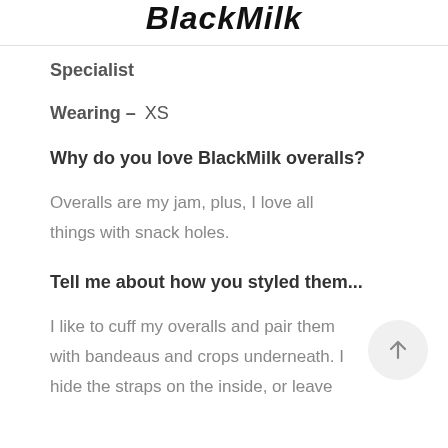BlackMilk
Specialist
Wearing – XS
Why do you love BlackMilk overalls?
Overalls are my jam, plus, I love all things with snack holes.
Tell me about how you styled them...
I like to cuff my overalls and pair them with bandeaus and crops underneath. I hide the straps on the inside, or leave